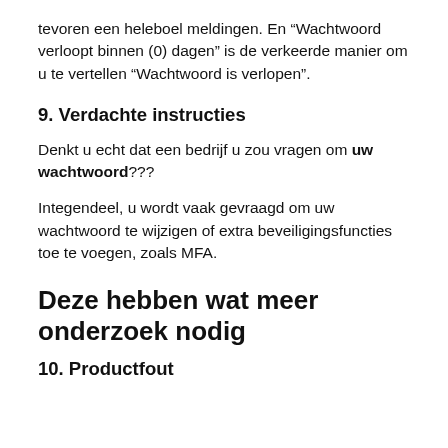tevoren een heleboel meldingen. En “Wachtwoord verloopt binnen (0) dagen” is de verkeerde manier om u te vertellen “Wachtwoord is verlopen”.
9. Verdachte instructies
Denkt u echt dat een bedrijf u zou vragen om uw wachtwoord???
Integendeel, u wordt vaak gevraagd om uw wachtwoord te wijzigen of extra beveiligingsfuncties toe te voegen, zoals MFA.
Deze hebben wat meer onderzoek nodig
10. Productfout